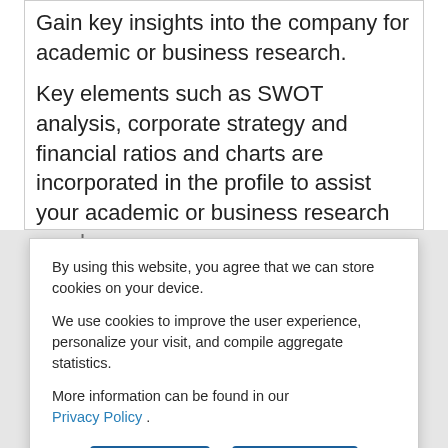Gain key insights into the company for academic or business research. Key elements such as SWOT analysis, corporate strategy and financial ratios and charts are incorporated in the profile to assist your academic or business research needs.
Note: Some sections may be missing if data is
By using this website, you agree that we can store cookies on your device.
We use cookies to improve the user experience, personalize your visit, and compile aggregate statistics.
More information can be found in our Privacy Policy .